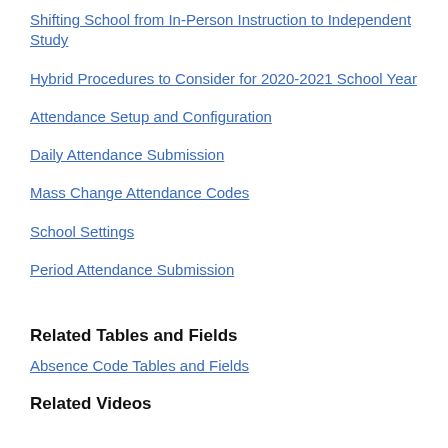Shifting School from In-Person Instruction to Independent Study
Hybrid Procedures to Consider for 2020-2021 School Year
Attendance Setup and Configuration
Daily Attendance Submission
Mass Change Attendance Codes
School Settings
Period Attendance Submission
Related Tables and Fields
Absence Code Tables and Fields
Related Videos